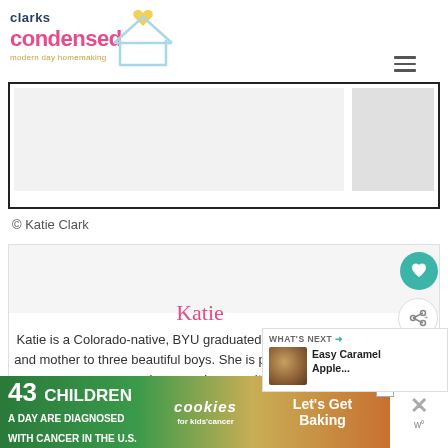[Figure (logo): Clarks Condensed logo with pink heart icon and tagline 'modern day homemaking']
[Figure (photo): Large bordered image box with light gray image area on left and darker gray area on right]
© Katie Clark
[Figure (photo): Profile card with teal heart button and share button, showing Katie's name in pink and bio text below]
Katie
Katie is a Colorado-native, BYU graduated, importantly, wife to one and mother to three beautiful boys. She is passionate about sharing her experiences with
[Figure (screenshot): Ad banner: 43 CHILDREN A Day Are Diagnosed With Cancer in the U.S. - cookies for kids cancer - Let's Get Baking]